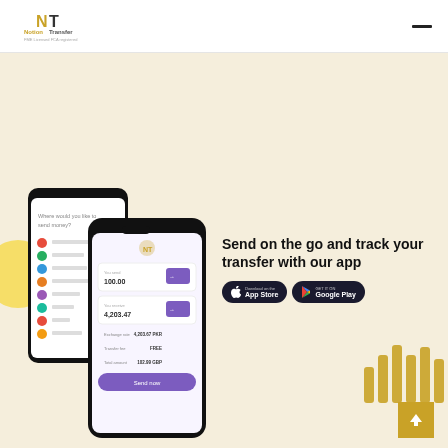[Figure (logo): Notion Transfer logo with gold N and T letters and text 'Notion Transfer' with tagline below]
[Figure (screenshot): Two smartphone screens showing the Notion Transfer money transfer app interface with country list and transfer amount screens]
Send on the go and track your transfer with our app
[Figure (other): App Store download button]
[Figure (other): Google Play download button]